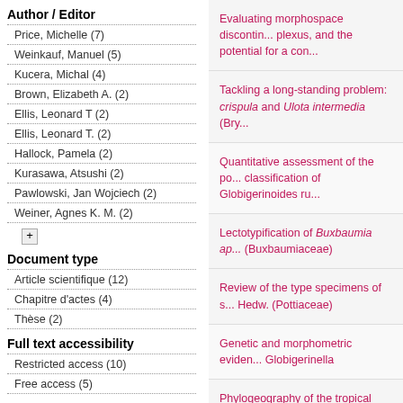Author / Editor
Price, Michelle (7)
Weinkauf, Manuel (5)
Kucera, Michal (4)
Brown, Elizabeth A. (2)
Ellis, Leonard T (2)
Ellis, Leonard T. (2)
Hallock, Pamela (2)
Kurasawa, Atsushi (2)
Pawlowski, Jan Wojciech (2)
Weiner, Agnes K. M. (2)
Document type
Article scientifique (12)
Chapitre d'actes (4)
Thèse (2)
Full text accessibility
Restricted access (10)
Free access (5)
Evaluating morphospace discontin... plexus, and the potential for a con...
Tackling a long-standing problem: crispula and Ulota intermedia (Bry...
Quantitative assessment of the po... classification of Globigerinoides ru...
Lectotypification of Buxbaumia ap... (Buxbaumiaceae)
Review of the type specimens of s... Hedw. (Pottiaceae)
Genetic and morphometric eviden... Globigerinella
Phylogeography of the tropical pla... reveals isolation inconsistent with...